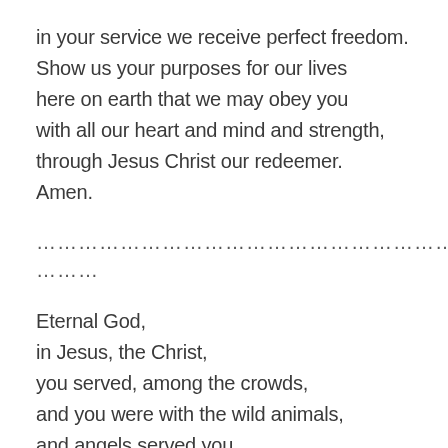in your service we receive perfect freedom.
Show us your purposes for our lives
here on earth that we may obey you
with all our heart and mind and strength,
through Jesus Christ our redeemer.
Amen.
...............................................................
........
Eternal God,
in Jesus, the Christ,
you served, among the crowds,
and you were with the wild animals,
and angels served you.
Equip us to be givers and receives of that same